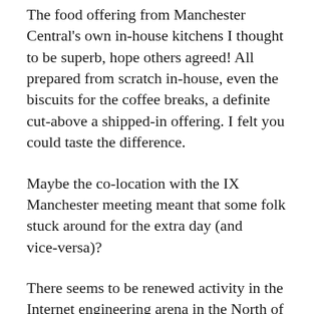The food offering from Manchester Central's own in-house kitchens I thought to be superb, hope others agreed! All prepared from scratch in-house, even the biscuits for the coffee breaks, a definite cut-above a shipped-in offering. I felt you could taste the difference.
Maybe the co-location with the IX Manchester meeting meant that some folk stuck around for the extra day (and vice-versa)?
There seems to be renewed activity in the Internet engineering arena in the North of England at the moment – partly touched on by Mike Kelly's participation in a panel at the meeting, discussing the relevance of regional infrastructure and their involvement...